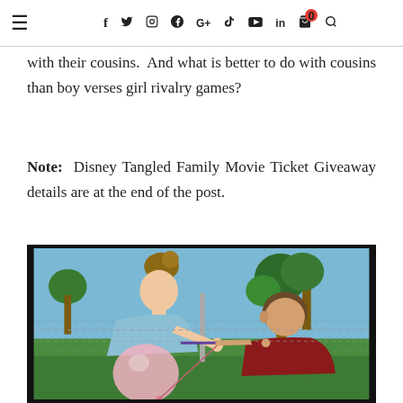≡  f  Twitter  Instagram  Pinterest  G+  YouTube  in  🛒0  🔍
with their cousins.  And what is better to do with cousins than boy verses girl rivalry games?
Note:  Disney Tangled Family Movie Ticket Giveaway details are at the end of the post.
[Figure (photo): A girl in a light blue shirt holding a pink balloon faces a boy in a dark red shirt who is blowing on a pinwheel/straw, outdoors on a green lawn with a chain-link fence and trees in the background.]